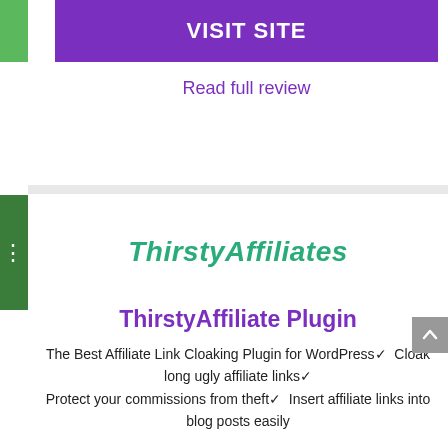VISIT SITE
Read full review
[Figure (logo): ThirstyAffiliates logo text in bold italic teal/green]
ThirstyAffiliate Plugin
The Best Affiliate Link Cloaking Plugin for WordPress✔ Cloak long ugly affiliate links✔ Protect your commissions from theft✔ Insert affiliate links into blog posts easily
$ 49